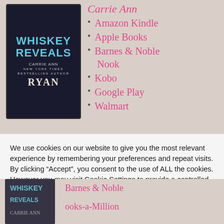[Figure (illustration): Book cover for 'Whiskey Reveals' by Carrie Ann Ryan, shown as a dark-themed e-reader/tablet display with teal title text and author name]
Carrie Ann
Amazon Kindle
Apple Books
Barnes & Noble Nook
Kobo
Google Play
Walmart
We use cookies on our website to give you the most relevant experience by remembering your preferences and repeat visits. By clicking “Accept”, you consent to the use of ALL the cookies. However you may visit Cookie Settings to provide a controlled consent.
Cookie settings
ACCEPT